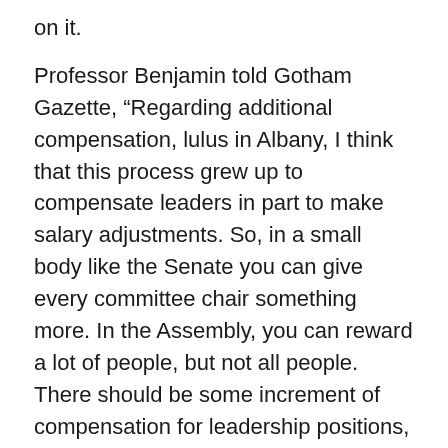on it.
Professor Benjamin told Gotham Gazette, “Regarding additional compensation, lulus in Albany, I think that this process grew up to compensate leaders in part to make salary adjustments. So, in a small body like the Senate you can give every committee chair something more. In the Assembly, you can reward a lot of people, but not all people. There should be some increment of compensation for leadership positions, but I prefer to have salary equity and less in the way of special payments, with periodic salary adjustments, which would be fair and better.”
Next Steps
Blair Horner, of NYPIRG, told Gotham Gazette that pegging salaries to cost-of-living changes could “unningecessarily exacerbate public citizens. They don’t get to choose if their salaries go up and down. And if what they see in their lives is that their salaries are stagnant